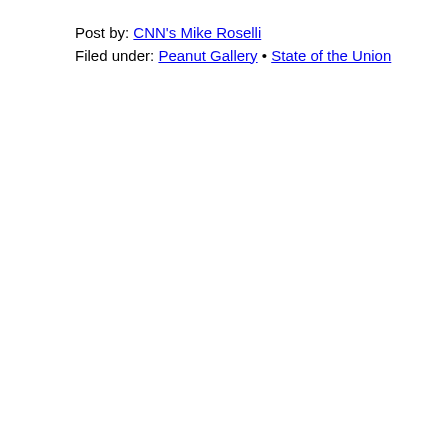Post by: CNN's Mike Roselli
Filed under: Peanut Gallery • State of the Union